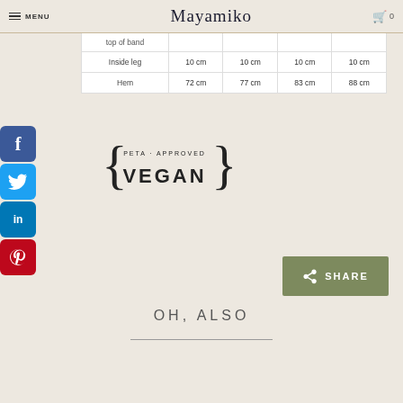MENU | Mayamiko | 0
|  |  |  |  |  |
| --- | --- | --- | --- | --- |
| top of band |  |  |  |  |
| Inside leg | 10 cm | 10 cm | 10 cm | 10 cm |
| Hem | 72 cm | 77 cm | 83 cm | 88 cm |
[Figure (logo): PETA-Approved Vegan logo with curly braces and text]
[Figure (infographic): SHARE button with share icon]
OH, ALSO